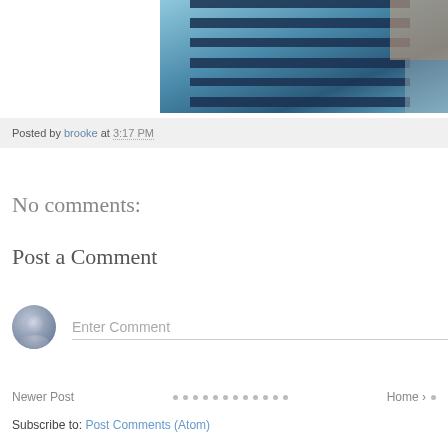[Figure (photo): Partial photo showing a person wearing a blue and dark navy striped shirt, with a hand visible at the upper right]
Posted by brooke at 3:17 PM
No comments:
Post a Comment
Enter Comment
Newer Post • • • • • • • • • • • • • • Home •
Subscribe to: Post Comments (Atom)